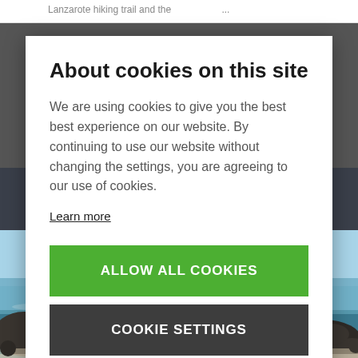Lanzarote hiking trail and the ...
About cookies on this site
We are using cookies to give you the best best experience on our website. By continuing to use our website without changing the settings, you are agreeing to our use of cookies.
Learn more
ALLOW ALL COOKIES
COOKIE SETTINGS
[Figure (photo): Coastal photo showing dark volcanic rocks and boulders in the foreground with calm blue-green water and white surf in the background.]